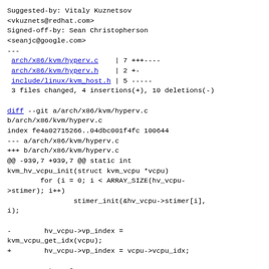Suggested-by: Vitaly Kuznetsov
<vkuznets@redhat.com>
Signed-off-by: Sean Christopherson
<seanjc@google.com>
---
 arch/x86/kvm/hyperv.c    | 7 +++----
 arch/x86/kvm/hyperv.h    | 2 +-
 include/linux/kvm_host.h | 5 -----
 3 files changed, 4 insertions(+), 10 deletions(-)

diff --git a/arch/x86/kvm/hyperv.c
b/arch/x86/kvm/hyperv.c
index fe4a02715266..04dbc001f4fc 100644
--- a/arch/x86/kvm/hyperv.c
+++ b/arch/x86/kvm/hyperv.c
@@ -939,7 +939,7 @@ static int
kvm_hv_vcpu_init(struct kvm_vcpu *vcpu)
        for (i = 0; i < ARRAY_SIZE(hv_vcpu-
>stimer); i++)
                stimer_init(&hv_vcpu->stimer[i],
i);

-        hv_vcpu->vp_index =
kvm_vcpu_get_idx(vcpu);
+        hv_vcpu->vp_index = vcpu->vcpu_idx;

        return 0;
  }
@@ -1444,7 +1444,6 @@ static int